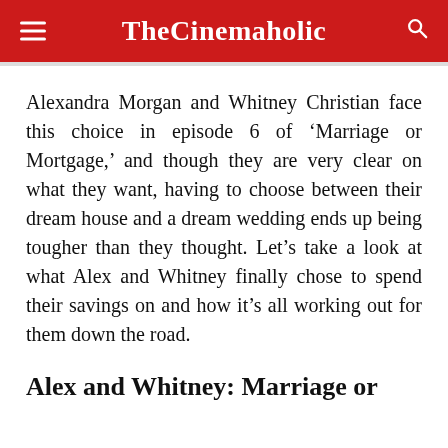TheCinemaholic
Alexandra Morgan and Whitney Christian face this choice in episode 6 of ‘Marriage or Mortgage,’ and though they are very clear on what they want, having to choose between their dream house and a dream wedding ends up being tougher than they thought. Let’s take a look at what Alex and Whitney finally chose to spend their savings on and how it’s all working out for them down the road.
Alex and Whitney: Marriage or